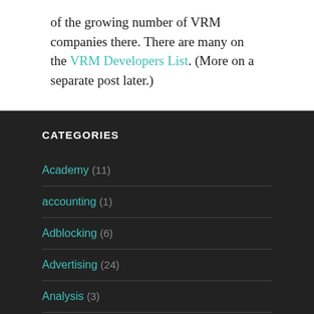of the growing number of VRM companies there. There are many on the VRM Developers List. (More on a separate post later.)
CATEGORIES
Academy (11)
accounting (1)
Adblocking (6)
Advertising (24)
Analysis (3)
APIs (8)